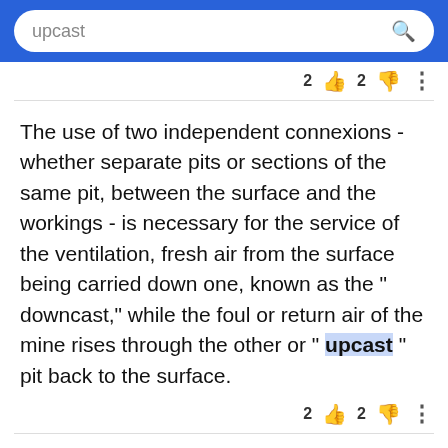upcast
The use of two independent connexions - whether separate pits or sections of the same pit, between the surface and the workings - is necessary for the service of the ventilation, fresh air from the surface being carried down one, known as the " downcast," while the foul or return air of the mine rises through the other or " upcast " pit back to the surface.
This is effected by carrying through the workings a large volume of air which is kept continually